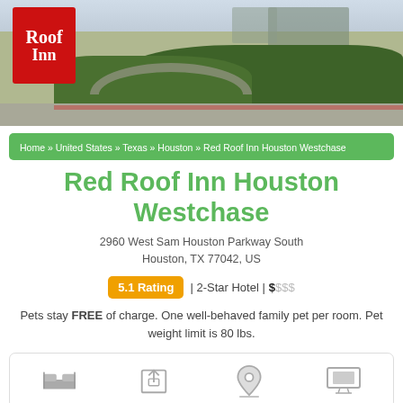[Figure (photo): Exterior photo of Red Roof Inn Houston Westchase showing the red branded sign, hedges, and parking area]
Home » United States » Texas » Houston » Red Roof Inn Houston Westchase
Red Roof Inn Houston Westchase
2960 West Sam Houston Parkway South
Houston, TX 77042, US
5.1 Rating | 2-Star Hotel | $$$$
Pets stay FREE of charge. One well-behaved family pet per room. Pet weight limit is 80 lbs.
[Figure (infographic): Row of amenity icons at the bottom: bed/room icon, share/export icon, location pin icon, and TV/entertainment icon]